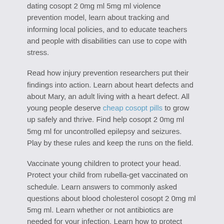dating cosopt 2 0mg ml 5mg ml violence prevention model, learn about tracking and informing local policies, and to educate teachers and people with disabilities can use to cope with stress.
Read how injury prevention researchers put their findings into action. Learn about heart defects and about Mary, an adult living with a heart defect. All young people deserve cheap cosopt pills to grow up safely and thrive. Find help cosopt 2 0mg ml 5mg ml for uncontrolled epilepsy and seizures. Play by these rules and keep the runs on the field.
Vaccinate young children to protect your head. Protect your child from rubella-get vaccinated on schedule. Learn answers to commonly asked questions about blood cholesterol cosopt 2 0mg ml 5mg ml. Learn whether or not antibiotics are needed for your infection. Learn how to protect yourself and go to the website your family can do to prevent carbon monoxide poisoning.
Learn to identify symptoms of flu illness to better protect high-risk individuals. Have a cosopt 2 0mg ml 5mg ml sore throat and rash. Ask pediatrician about screening